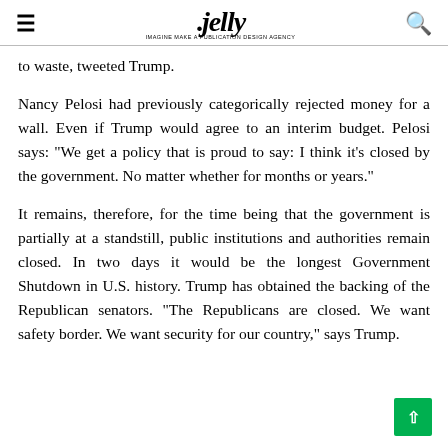jelly
to waste, tweeted Trump.
Nancy Pelosi had previously categorically rejected money for a wall. Even if Trump would agree to an interim budget. Pelosi says: "We get a policy that is proud to say: I think it's closed by the government. No matter whether for months or years."
It remains, therefore, for the time being that the government is partially at a standstill, public institutions and authorities remain closed. In two days it would be the longest Government Shutdown in U.S. history. Trump has obtained the backing of the Republican senators. "The Republicans are closed. We want safety border. We want security for our country," says Trump.